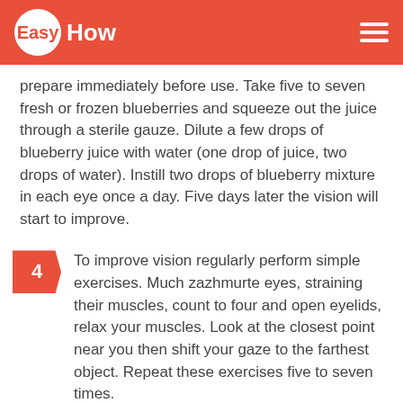EasyHow
prepare immediately before use. Take five to seven fresh or frozen blueberries and squeeze out the juice through a sterile gauze. Dilute a few drops of blueberry juice with water (one drop of juice, two drops of water). Instill two drops of blueberry mixture in each eye once a day. Five days later the vision will start to improve.
4 To improve vision regularly perform simple exercises. Much zazhmurte eyes, straining their muscles, count to four and open eyelids, relax your muscles. Look at the closest point near you then shift your gaze to the farthest object. Repeat these exercises five to seven times.
5 Take a pencil and extend your arm forward,